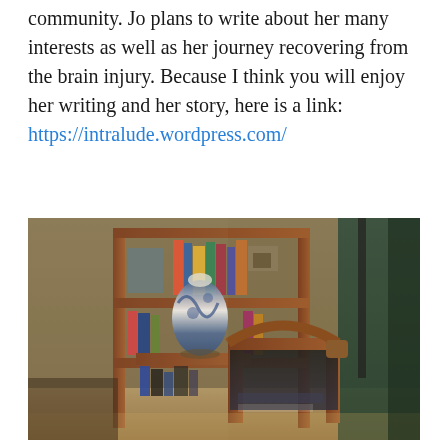community. Jo plans to write about her many interests as well as her journey recovering from the brain injury. Because I think you will enjoy her writing and her story, here is a link: https://intralude.wordpress.com/
[Figure (photo): Watercolor-style painting of a cozy room interior with wooden shelving/bookcase, a large blue and white ceramic vase, books on shelves, and an armchair with a dark cushion. The scene has warm brown and muted teal tones.]